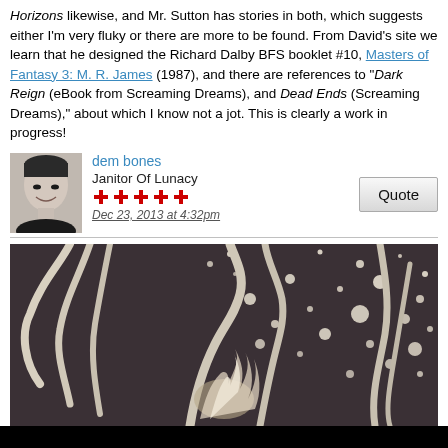Horizons likewise, and Mr. Sutton has stories in both, which suggests either I'm very fluky or there are more to be found. From David's site we learn that he designed the Richard Dalby BFS booklet #10, Masters of Fantasy 3: M. R. James (1987), and there are references to "Dark Reign (eBook from Screaming Dreams), and Dead Ends (Screaming Dreams)," about which I know not a jot. This is clearly a work in progress!
dem bones
Janitor Of Lunacy
Dec 23, 2013 at 4:32pm
[Figure (illustration): Dark illustration of tentacles or serpentine forms against a starry background with glowing circular dots, and a flame-like form at center bottom.]